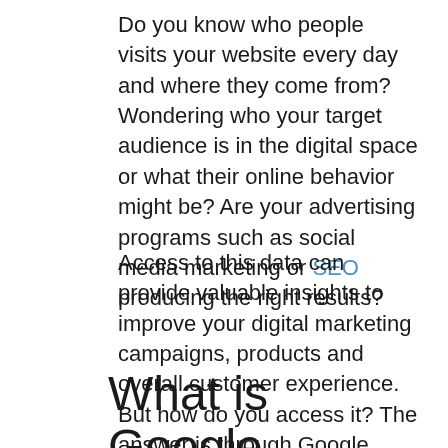Do you know who people visits your website every day and where they come from? Wondering who your target audience is in the digital space or what their online behavior might be? Are your advertising programs such as social media marketing or SEO producing the right results?
Access to this data can provide valuable insights to improve your digital marketing campaigns, products and overall customer experience. But how do you access it? The answer is through Google Analytics.
What is Google Analytics?